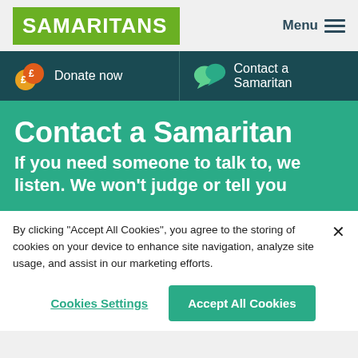[Figure (logo): Samaritans logo — white text on green background]
Menu
[Figure (infographic): Navigation bar with 'Donate now' and 'Contact a Samaritan' links on dark teal background with icons]
Contact a Samaritan
If you need someone to talk to, we listen. We won't judge or tell you what to do.
By clicking "Accept All Cookies", you agree to the storing of cookies on your device to enhance site navigation, analyze site usage, and assist in our marketing efforts.
Cookies Settings
Accept All Cookies